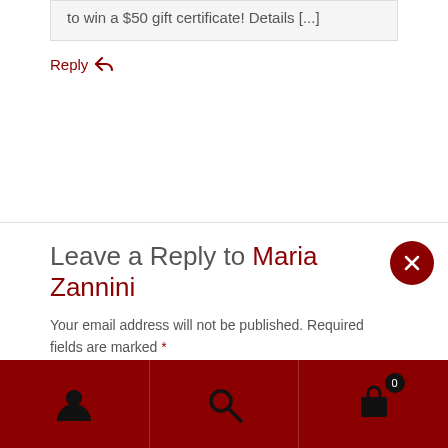to win a $50 gift certificate! Details [...]
Reply ↩
Leave a Reply to Maria Zannini
Your email address will not be published. Required fields are marked *
Comment *
Navigation bar with user, search, and cart icons